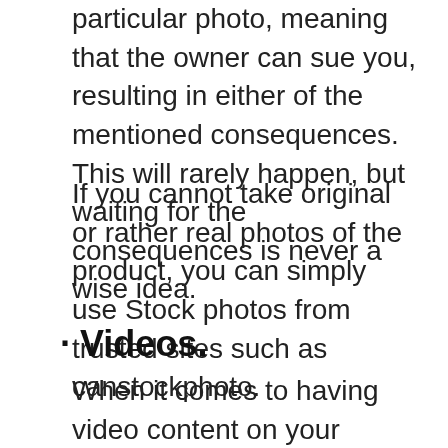particular photo, meaning that the owner can sue you, resulting in either of the mentioned consequences. This will rarely happen, but waiting for the consequences is never a wise idea.
If you cannot take original or rather real photos of the product, you can simply use Stock photos from trusted sites such as canstockphoto.
· Videos.
When it comes to having video content on your affiliate website, most people go for those YouTube videos because they are readily available. Yes, this is a great way to save yourself the time and money to create